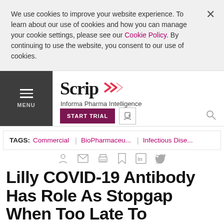We use cookies to improve your website experience. To learn about our use of cookies and how you can manage your cookie settings, please see our Cookie Policy. By continuing to use the website, you consent to our use of cookies.
Scrip — Informa Pharma Intelligence | MENU | START TRIAL
TAGS: Commercial | BioPharmaceu... | Infectious Dise...
Lilly COVID-19 Antibody Has Role As Stopgap When Too Late To Vaccinate